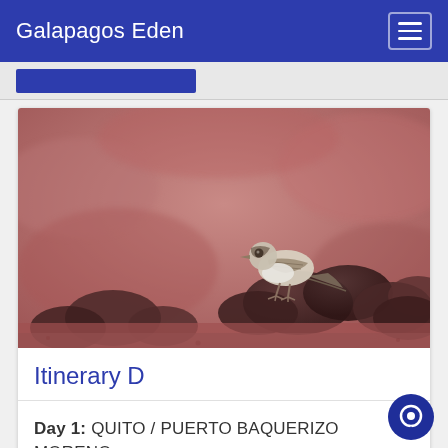Galapagos Eden
[Figure (photo): A small finch bird perched on dark lava rocks on a red sandy beach in the Galapagos Islands. The bird has brown and white plumage with a striped pattern. The background is blurred reddish-brown volcanic sand.]
Itinerary D
Day 1: QUITO / PUERTO BAQUERIZO MORENO